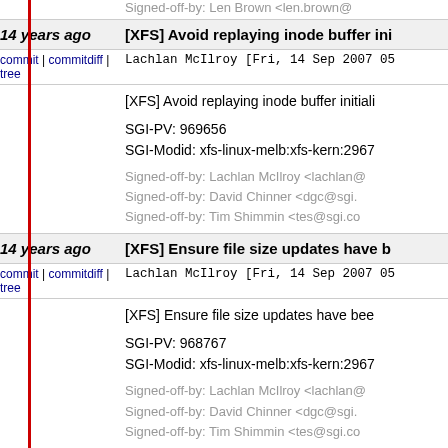Signed-off-by: Len Brown <len.brown@...
14 years ago
[XFS] Avoid replaying inode buffer ini...
commit | commitdiff | tree
Lachlan McIlroy [Fri, 14 Sep 2007 05...
[XFS] Avoid replaying inode buffer initiali...
SGI-PV: 969656
SGI-Modid: xfs-linux-melb:xfs-kern:2967...
Signed-off-by: Lachlan McIlroy <lachlan@...
Signed-off-by: David Chinner <dgc@sgi...
Signed-off-by: Tim Shimmin <tes@sgi.co...
14 years ago
[XFS] Ensure file size updates have b...
commit | commitdiff | tree
Lachlan McIlroy [Fri, 14 Sep 2007 05...
[XFS] Ensure file size updates have bee...
SGI-PV: 968767
SGI-Modid: xfs-linux-melb:xfs-kern:2967...
Signed-off-by: Lachlan McIlroy <lachlan@...
Signed-off-by: David Chinner <dgc@sgi...
Signed-off-by: Tim Shimmin <tes@sgi.co...